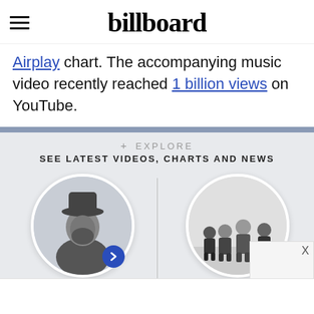billboard
Airplay chart. The accompanying music video recently reached 1 billion views on YouTube.
+ EXPLORE SEE LATEST VIDEOS, CHARTS AND NEWS
[Figure (illustration): Circle photo of Chris Stapleton with blue arrow button]
Chris Stapleton
[Figure (illustration): Circle photo of Metallica band members with blue arrow button]
Metallica